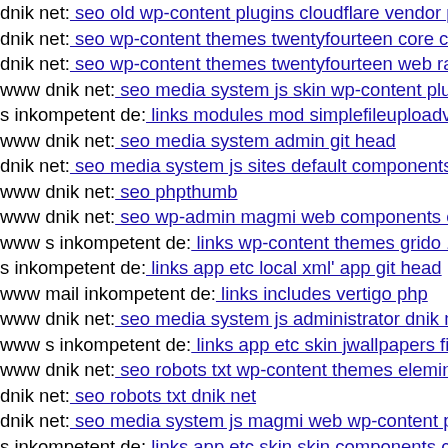dnik net: seo old wp-content plugins cloudflare vendor php
dnik net: seo wp-content themes twentyfourteen core comp
dnik net: seo wp-content themes twentyfourteen web ramz
www dnik net: seo media system js skin wp-content plugin
s inkompetent de: links modules mod simplefileuploadv1 3
www dnik net: seo media system admin git head
dnik net: seo media system js sites default components cor
www dnik net: seo phpthumb
www dnik net: seo wp-admin magmi web components cor
www s inkompetent de: links wp-content themes grido 164
s inkompetent de: links app etc local xml' app git head
www mail inkompetent de: links includes vertigo php
www dnik net: seo media system js administrator dnik net
www s inkompetent de: links app etc skin jwallpapers files
www dnik net: seo robots txt wp-content themes elemin s i
dnik net: seo robots txt dnik net
dnik net: seo media system js magmi web wp-content plug
s inkompetent de: links app etc skin skin components com
www dnik net: seo wp-content themes rezo uploads xattac
dnik net: seo media system js magmi web wp-includes wp-